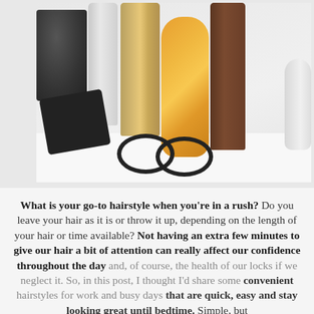[Figure (photo): Flat-lay photo of hair care products on a white surface: a dark grey candle (Diptyque Feu de Bois), a white/silver spray bottle, a gold cylindrical bottle (Goldwell), an orange diamond-shaped bottle (Kerastase diamond oil), a tall dark brown bottle, a white canister, a black hair comb/pick, and two black hair elastics lying on the white surface.]
What is your go-to hairstyle when you're in a rush? Do you leave your hair as it is or throw it up, depending on the length of your hair or time available? Not having an extra few minutes to give our hair a bit of attention can really affect our confidence throughout the day and, of course, the health of our locks if we neglect it. So, in this post, I thought I'd share some convenient hairstyles for work and busy days that are quick, easy and stay looking great until bedtime. Simple, but